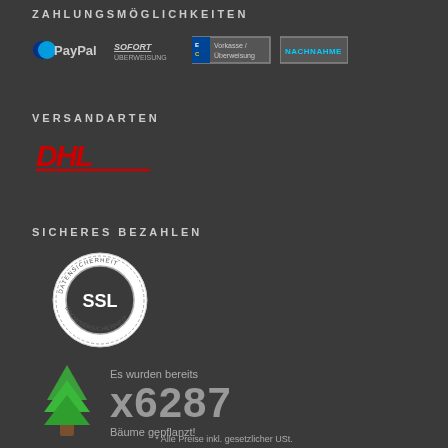ZAHLUNGSMÖGLICHKEITEN
[Figure (logo): Payment method logos: PayPal, SOFORT Überweisung, Vorkasse/Überweisung, NACHNAHME]
VERSANDARTEN
[Figure (logo): DHL logo in red italic text with underline]
SICHERES BEZAHLEN
[Figure (other): SSL Datensicherheit badge - circular seal with SSL text in center]
[Figure (illustration): Green tree icon]
Es wurden bereits x6287 Bäume gepflanzt!
* Alle Preise inkl. gesetzlicher USt.